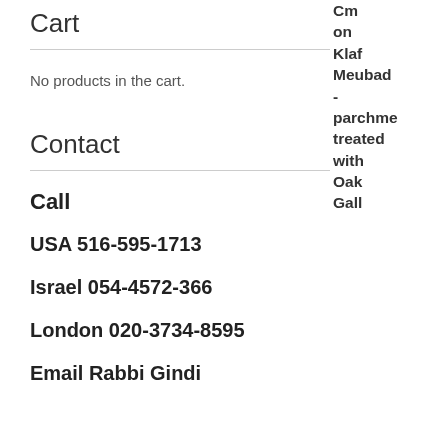Cm on Klaf Meubad - parchment treated with Oak Gall
Cart
No products in the cart.
Contact
Call
USA 516-595-1713
Israel 054-4572-366
London 020-3734-8595
Email Rabbi Gindi